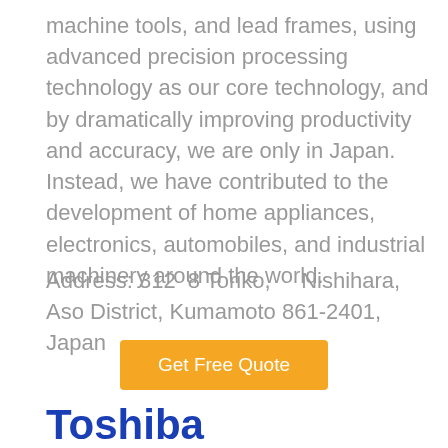machine tools, and lead frames, using advanced precision processing technology as our core technology, and by dramatically improving productivity and accuracy, we are only in Japan. Instead, we have contributed to the development of home appliances, electronics, automobiles, and industrial machinery around the world.
Address: 312  8 Toriko,      Nishihara, Aso District, Kumamoto 861-2401, Japan
[Figure (other): Orange button labeled 'Get Free Quote']
Toshiba